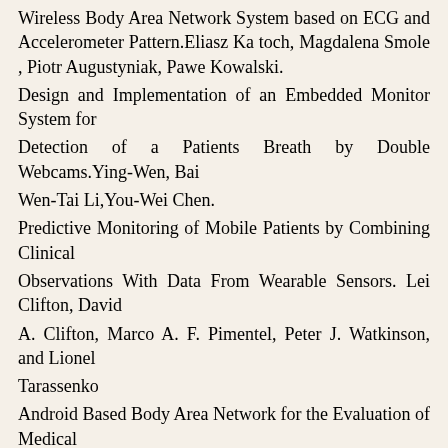Wireless Body Area Network System based on ECG and Accelerometer Pattern.Eliasz Ka toch, Magdalena Smole , Piotr Augustyniak, Pawe Kowalski.
Design and Implementation of an Embedded Monitor System for
Detection of a Patients Breath by Double Webcams.Ying-Wen, Bai
Wen-Tai Li,You-Wei Chen.
Predictive Monitoring of Mobile Patients by Combining Clinical
Observations With Data From Wearable Sensors. Lei Clifton, David
A. Clifton, Marco A. F. Pimentel, Peter J. Watkinson, and Lionel
Tarassenko
Android Based Body Area Network for the Evaluation of Medical
Parameters Matthias Wagner 1 , Benjamin Kuch 2 , Carlos Cabrera
, Peter Enoksson 3 , Arne Sieber 4 FH Frankfurt am Main -
University of Applied Sciences, Germany Scuola Superiore SantAnna - RETIS Lab, Pisa, Italy Chalmers University of Technology,